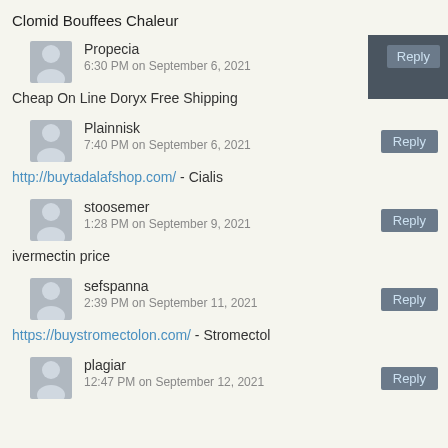Clomid Bouffees Chaleur
Propecia
6:30 PM on September 6, 2021
Cheap On Line Doryx Free Shipping
Plainnisk
7:40 PM on September 6, 2021
http://buytadalafshop.com/ - Cialis
stoosemer
1:28 PM on September 9, 2021
ivermectin price
sefspanna
2:39 PM on September 11, 2021
https://buystromectolon.com/ - Stromectol
plagiar
12:47 PM on September 12, 2021